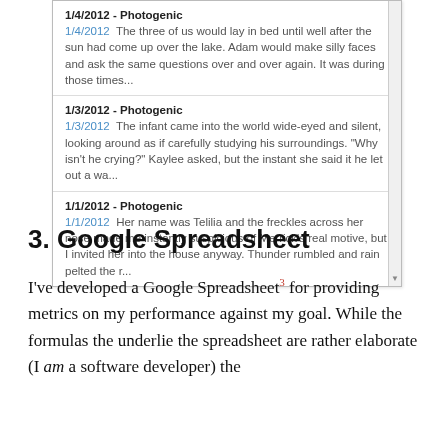[Figure (screenshot): A scrollable list widget showing blog/journal entries. Three entries visible: 1/4/2012 - Photogenic, 1/3/2012 - Photogenic, 1/1/2012 - Photogenic. Each entry shows a date link in blue followed by a text preview.]
3. Google Spreadsheet
I've developed a Google Spreadsheet³ for providing metrics on my performance against my goal. While the formulas the underlie the spreadsheet are rather elaborate (I am a software developer) the spreadsheet itself is simple and straightforward.